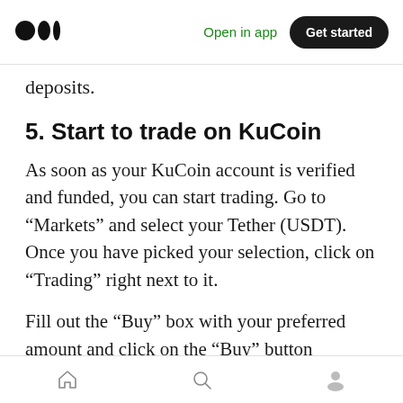Medium logo | Open in app | Get started
deposits.
5. Start to trade on KuCoin
As soon as your KuCoin account is verified and funded, you can start trading. Go to “Markets” and select your Tether (USDT). Once you have picked your selection, click on “Trading” right next to it.
Fill out the “Buy” box with your preferred amount and click on the “Buy” button whenever you’re ready. You can always refer to the Order book to help you determine which trades can be
Home | Search | Profile